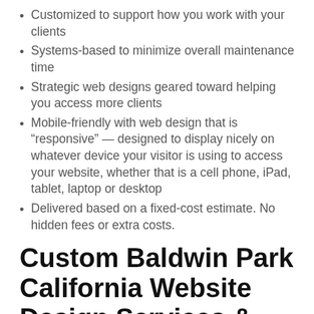Customized to support how you work with your clients
Systems-based to minimize overall maintenance time
Strategic web designs geared toward helping you access more clients
Mobile-friendly with web design that is “responsive” — designed to display nicely on whatever device your visitor is using to access your website, whether that is a cell phone, iPad, tablet, laptop or desktop
Delivered based on a fixed-cost estimate. No hidden fees or extra costs.
Custom Baldwin Park California Website Design Services & Development